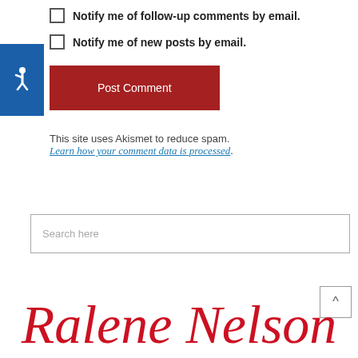[Figure (other): Blue accessibility badge with white wheelchair icon]
Notify me of follow-up comments by email.
Notify me of new posts by email.
Post Comment
This site uses Akismet to reduce spam. Learn how your comment data is processed.
Search here
[Figure (logo): Ralene Nelson cursive red signature logo]
^ back to top button